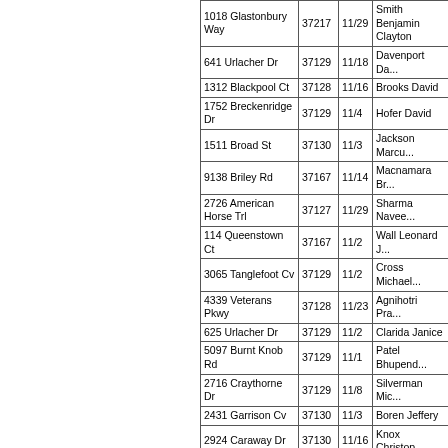| Address | ZIP | Date | Name |
| --- | --- | --- | --- |
| 1018 Glastonbury Way | 37217 | 11/29 | Smith Benjamin Clayton |
| 641 Urlacher Dr | 37129 | 11/18 | Davenport Da... |
| 1312 Blackpool Ct | 37128 | 11/16 | Brooks David |
| 1752 Breckenridge Dr | 37129 | 11/4 | Hofer David |
| 1511 Broad St | 37130 | 11/3 | Jackson Marcu... |
| 9138 Briley Rd | 37167 | 11/14 | Macnamara Br... |
| 2726 American Horse Trl | 37127 | 11/29 | Sharma Navee... |
| 114 Queenstown Ct | 37167 | 11/2 | Wall Leonard J... |
| 3065 Tanglefoot Cv | 37129 | 11/2 | Cross Michael... |
| 4339 Veterans Pkwy | 37128 | 11/23 | Agnihotri Pra... |
| 625 Urlacher Dr | 37129 | 11/2 | Clarida Janice |
| 5097 Burnt Knob Rd | 37129 | 11/1 | Patel Bhupend... |
| 2716 Craythorne Dr | 37129 | 11/8 | Silverman Mic... |
| 2431 Garrison Cv | 37130 | 11/3 | Boren Jeffery |
| 2924 Caraway Dr | 37130 | 11/16 | Knox Christop... |
| 612 Schroer Dr | 37128 | 11/29 | Mast Gregory |
| 2908 Morton Ln | 37167 | 11/3 | McDonald Eliz A |
| 246 White Cloud Trl | 37127 | 11/1 | Appenfelder Catherine W |
| 124 Camilla Ln | 37129 | 11/23 | Tedder Abby |
| 907 John Hood Dr | 37153 | 11/14 | Ritt Ryan J |
| 2911 Longford Dr | 37129 | 11/2 | McFarland Sh... |
| 2005 Porterish Dr | 37128 | 11/8 | Cross Li... |